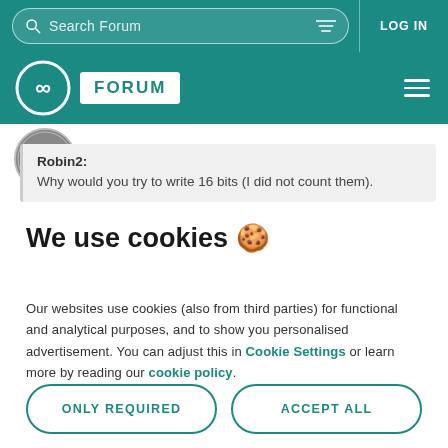Search Forum | LOG IN
[Figure (logo): Arduino Forum logo with infinity symbol and FORUM label on teal background]
[Figure (photo): User avatar thumbnail for DealTaken]
Robin2:
Why would you try to write 16 bits (I did not count them).
We use cookies 🍪
Our websites use cookies (also from third parties) for functional and analytical purposes, and to show you personalised advertisement. You can adjust this in Cookie Settings or learn more by reading our cookie policy.
ONLY REQUIRED
ACCEPT ALL